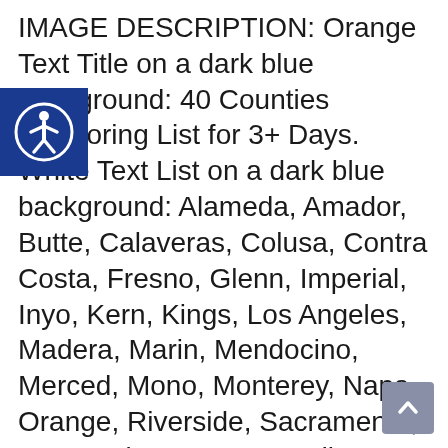IMAGE DESCRIPTION: Orange Text Title on a dark blue background: 40 Counties Monitoring List for 3+ Days. White Text List on a dark blue background: Alameda, Amador, Butte, Calaveras, Colusa, Contra Costa, Fresno, Glenn, Imperial, Inyo, Kern, Kings, Los Angeles, Madera, Marin, Mendocino, Merced, Mono, Monterey, Napa, Orange, Riverside, Sacramento, San Benito, San Bernardino, San Francisco, San Joaquin, San Luis Obispo, San Mateo, Santa Barbara, Santa Clara, Sierra, Solano, Sonoma, Stanislaus, Sutter, Tulare, Ventura, Yolo, Yuba